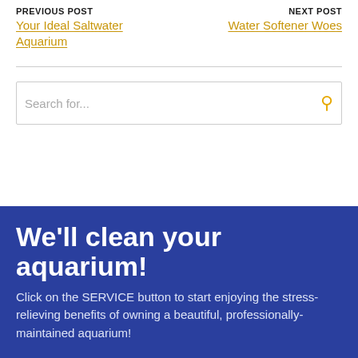PREVIOUS POST
Your Ideal Saltwater Aquarium
NEXT POST
Water Softener Woes
Search for...
We'll clean your aquarium!
Click on the SERVICE button to start enjoying the stress-relieving benefits of owning a beautiful, professionally-maintained aquarium!